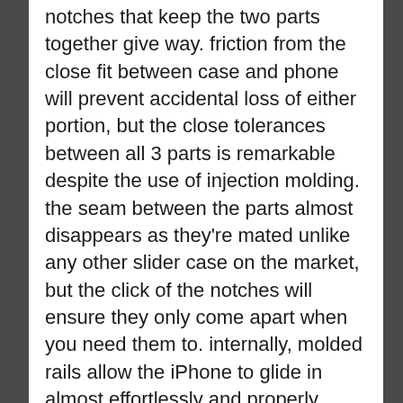notches that keep the two parts together give way. friction from the close fit between case and phone will prevent accidental loss of either portion, but the close tolerances between all 3 parts is remarkable despite the use of injection molding. the seam between the parts almost disappears as they're mated unlike any other slider case on the market, but the click of the notches will ensure they only come apart when you need them to. internally, molded rails allow the iPhone to glide in almost effortlessly and properly aligned; the rails use the notches between the steel band and glass covers on the iPhone, with additional rails cut into the right side to accommodate the protruding volume buttons and silent switch. like other brands, the Formula also features a protruding lip that protects the screen when the phone is placed face-down. however,